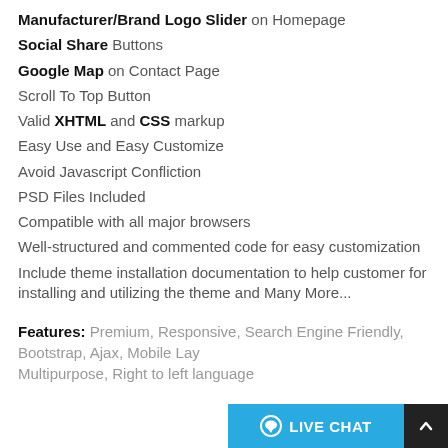Manufacturer/Brand Logo Slider on Homepage
Social Share Buttons
Google Map on Contact Page
Scroll To Top Button
Valid XHTML and CSS markup
Easy Use and Easy Customize
Avoid Javascript Confliction
PSD Files Included
Compatible with all major browsers
Well-structured and commented code for easy customization
Include theme installation documentation to help customer for installing and utilizing the theme and Many More...
Features: Premium, Responsive, Search Engine Friendly, Bootstrap, Ajax, Mobile Lay... Multipurpose, Right to left language